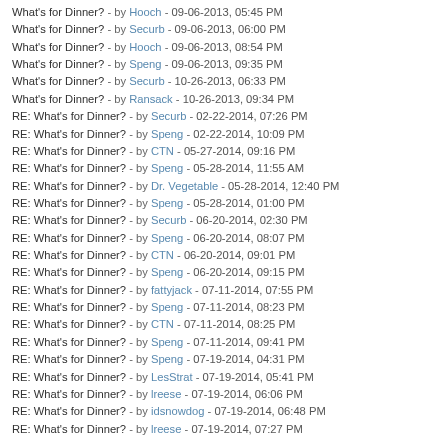What's for Dinner? - by Hooch - 09-06-2013, 05:45 PM
What's for Dinner? - by Securb - 09-06-2013, 06:00 PM
What's for Dinner? - by Hooch - 09-06-2013, 08:54 PM
What's for Dinner? - by Speng - 09-06-2013, 09:35 PM
What's for Dinner? - by Securb - 10-26-2013, 06:33 PM
What's for Dinner? - by Ransack - 10-26-2013, 09:34 PM
RE: What's for Dinner? - by Securb - 02-22-2014, 07:26 PM
RE: What's for Dinner? - by Speng - 02-22-2014, 10:09 PM
RE: What's for Dinner? - by CTN - 05-27-2014, 09:16 PM
RE: What's for Dinner? - by Speng - 05-28-2014, 11:55 AM
RE: What's for Dinner? - by Dr. Vegetable - 05-28-2014, 12:40 PM
RE: What's for Dinner? - by Speng - 05-28-2014, 01:00 PM
RE: What's for Dinner? - by Securb - 06-20-2014, 02:30 PM
RE: What's for Dinner? - by Speng - 06-20-2014, 08:07 PM
RE: What's for Dinner? - by CTN - 06-20-2014, 09:01 PM
RE: What's for Dinner? - by Speng - 06-20-2014, 09:15 PM
RE: What's for Dinner? - by fattyjack - 07-11-2014, 07:55 PM
RE: What's for Dinner? - by Speng - 07-11-2014, 08:23 PM
RE: What's for Dinner? - by CTN - 07-11-2014, 08:25 PM
RE: What's for Dinner? - by Speng - 07-11-2014, 09:41 PM
RE: What's for Dinner? - by Speng - 07-19-2014, 04:31 PM
RE: What's for Dinner? - by LesStrat - 07-19-2014, 05:41 PM
RE: What's for Dinner? - by lreese - 07-19-2014, 06:06 PM
RE: What's for Dinner? - by idsnowdog - 07-19-2014, 06:48 PM
RE: What's for Dinner? - by lreese - 07-19-2014, 07:27 PM